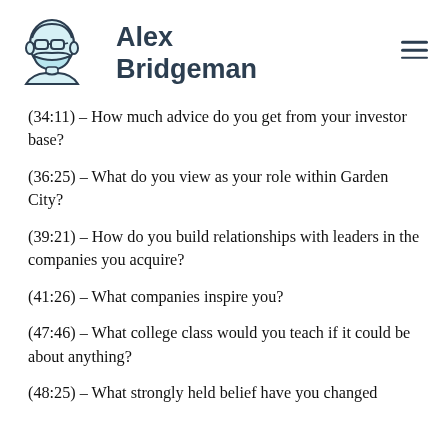[Figure (logo): Illustrated avatar of a person wearing glasses and a face mask, with light blue fill and dark outline]
Alex Bridgeman
(34:11) – How much advice do you get from your investor base?
(36:25) – What do you view as your role within Garden City?
(39:21) – How do you build relationships with leaders in the companies you acquire?
(41:26) – What companies inspire you?
(47:46) – What college class would you teach if it could be about anything?
(48:25) – What strongly held belief have you changed